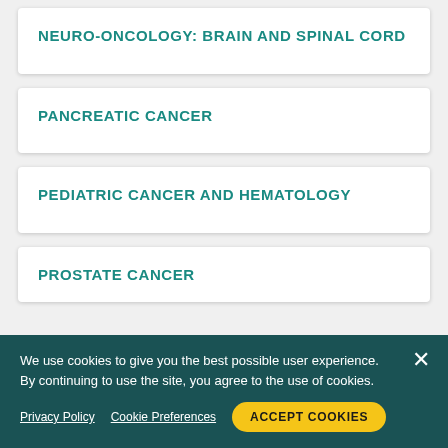NEURO-ONCOLOGY: BRAIN AND SPINAL CORD
PANCREATIC CANCER
PEDIATRIC CANCER AND HEMATOLOGY
PROSTATE CANCER
We use cookies to give you the best possible user experience. By continuing to use the site, you agree to the use of cookies.
Privacy Policy   Cookie Preferences   ACCEPT COOKIES